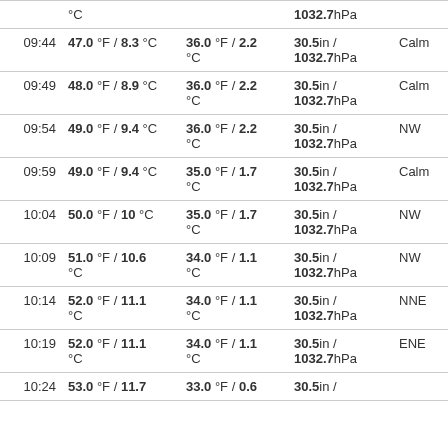| Time | Temp | Dew Point | Pressure | Wind |
| --- | --- | --- | --- | --- |
|  | °C |  | 1032.7hPa |  |
| 09:44 | 47.0 °F / 8.3 °C | 36.0 °F / 2.2 °C | 30.5in / 1032.7hPa | Calm |
| 09:49 | 48.0 °F / 8.9 °C | 36.0 °F / 2.2 °C | 30.5in / 1032.7hPa | Calm |
| 09:54 | 49.0 °F / 9.4 °C | 36.0 °F / 2.2 °C | 30.5in / 1032.7hPa | NW |
| 09:59 | 49.0 °F / 9.4 °C | 35.0 °F / 1.7 °C | 30.5in / 1032.7hPa | Calm |
| 10:04 | 50.0 °F / 10 °C | 35.0 °F / 1.7 °C | 30.5in / 1032.7hPa | NW |
| 10:09 | 51.0 °F / 10.6 °C | 34.0 °F / 1.1 °C | 30.5in / 1032.7hPa | NW |
| 10:14 | 52.0 °F / 11.1 °C | 34.0 °F / 1.1 °C | 30.5in / 1032.7hPa | NNE |
| 10:19 | 52.0 °F / 11.1 °C | 34.0 °F / 1.1 °C | 30.5in / 1032.7hPa | ENE |
| 10:24 | 53.0 °F / 11.7 | 33.0 °F / 0.6 | 30.5in / |  |